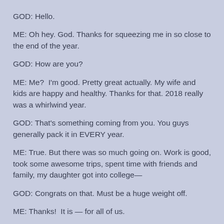GOD: Hello.
ME: Oh hey. God. Thanks for squeezing me in so close to the end of the year.
GOD: How are you?
ME: Me?  I'm good. Pretty great actually. My wife and kids are happy and healthy. Thanks for that. 2018 really was a whirlwind year.
GOD: That's something coming from you. You guys generally pack it in EVERY year.
ME: True. But there was so much going on. Work is good, took some awesome trips, spent time with friends and family, my daughter got into college—
GOD: Congrats on that. Must be a huge weight off.
ME: Thanks!  It is — for all of us.